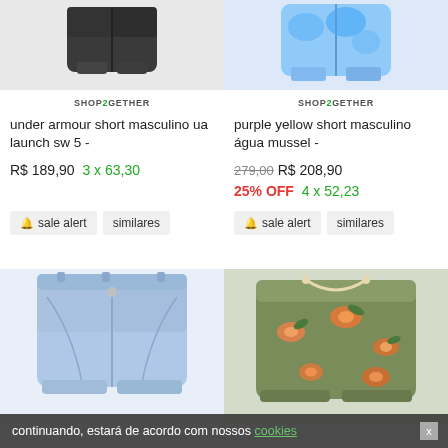[Figure (photo): Dark gray athletic shorts product image]
[Figure (photo): Blue patterned swim shorts product image]
SHOP2GETHER
SHOP2GETHER
under armour short masculino ua launch sw 5 -
purple yellow short masculino água mussel -
R$ 189,90  3 x 63,30
279,00 R$ 208,90
25% OFF  4 x 52,23
🔔 sale alert    similares
🔔 sale alert    similares
[Figure (photo): Light blue denim shorts product image]
[Figure (photo): Olive green floral print shorts product image]
continuando, estará de acordo com nossos cookies